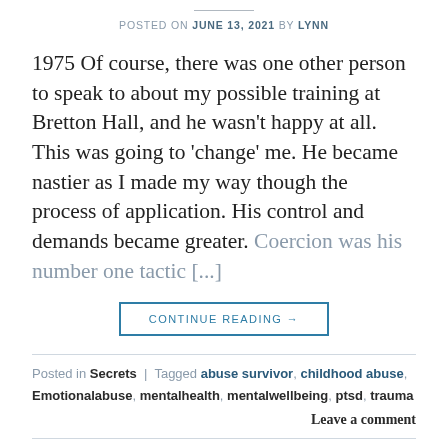POSTED ON JUNE 13, 2021 BY LYNN
1975 Of course, there was one other person to speak to about my possible training at Bretton Hall, and he wasn't happy at all. This was going to 'change' me. He became nastier as I made my way though the process of application. His control and demands became greater. Coercion was his number one tactic [...]
CONTINUE READING →
Posted in Secrets | Tagged abuse survivor, childhood abuse, Emotionalabuse, mentalhealth, mentalwellbeing, ptsd, trauma
Leave a comment
SECRETS